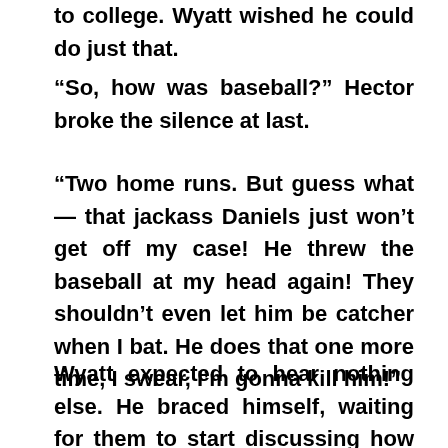to college. Wyatt wished he could do just that.
“So, how was baseball?” Hector broke the silence at last.
“Two home runs. But guess what — that jackass Daniels just won’t get off my case! He threw the baseball at my head again! They shouldn’t even let him be catcher when I bat. He does that one more time, I swear, I’m gonna kill him!”
Wyatt expected to hear nothing else. He braced himself, waiting for them to start discussing how exactly they would kill Daniels together, and how they would dispose of the body.